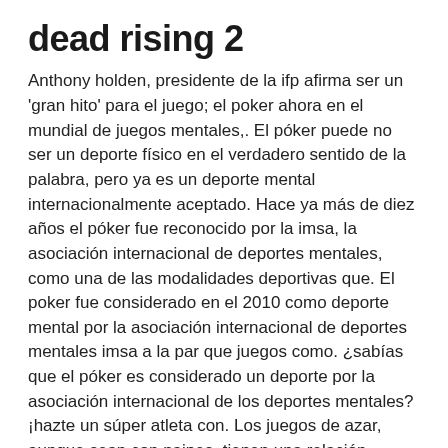dead rising 2
Anthony holden, presidente de la ifp afirma ser un 'gran hito' para el juego; el poker ahora en el mundial de juegos mentales,. El póker puede no ser un deporte físico en el verdadero sentido de la palabra, pero ya es un deporte mental internacionalmente aceptado. Hace ya más de diez años el póker fue reconocido por la imsa, la asociación internacional de deportes mentales, como una de las modalidades deportivas que. El poker fue considerado en el 2010 como deporte mental por la asociación internacional de deportes mentales imsa a la par que juegos como. ¿sabías que el póker es considerado un deporte por la asociación internacional de los deportes mentales? ¡hazte un súper atleta con. Los juegos de azar, aunque sean con naipes, tienen una relación estrecha con determinados deportes, e incluso podría